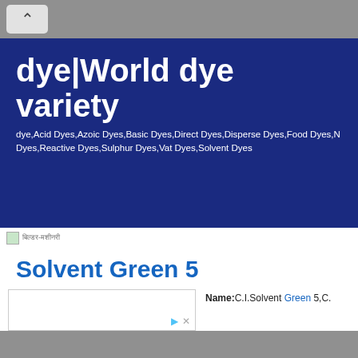[Figure (screenshot): Browser navigation bar with back arrow button on grey background]
dye|World dye variety
dye,Acid Dyes,Azoic Dyes,Basic Dyes,Direct Dyes,Disperse Dyes,Food Dyes,N Dyes,Reactive Dyes,Sulphur Dyes,Vat Dyes,Solvent Dyes
[Figure (photo): Small thumbnail image placeholder]
Solvent Green 5
Name:C.I.Solvent Green 5,C.